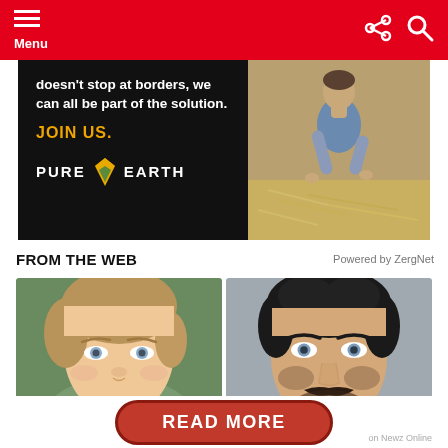Menu
[Figure (photo): Pure Earth advertisement: text reads 'doesn't stop at borders, we can all be part of the solution. JOIN US. PURE EARTH' with a photo of a person working outdoors on the right side.]
FROM THE WEB
Powered by ZergNet
[Figure (photo): Close-up portrait of a young boy with light brown hair and blue eyes]
[Figure (photo): Close-up portrait of a dark-haired man with a mustache and beard]
READ MORE
on Newz Online